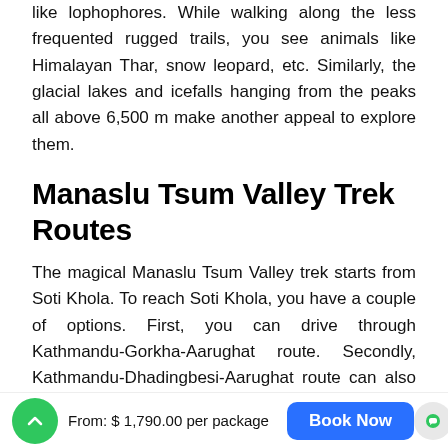like lophophores. While walking along the less frequented rugged trails, you see animals like Himalayan Thar, snow leopard, etc. Similarly, the glacial lakes and icefalls hanging from the peaks all above 6,500 m make another appeal to explore them.
Manaslu Tsum Valley Trek Routes
The magical Manaslu Tsum Valley trek starts from Soti Khola. To reach Soti Khola, you have a couple of options. First, you can drive through Kathmandu-Gorkha-Aarughat route. Secondly, Kathmandu-Dhadingbesi-Aarughat route can also be followed.
From: $ 1,790.00 per package  Book Now